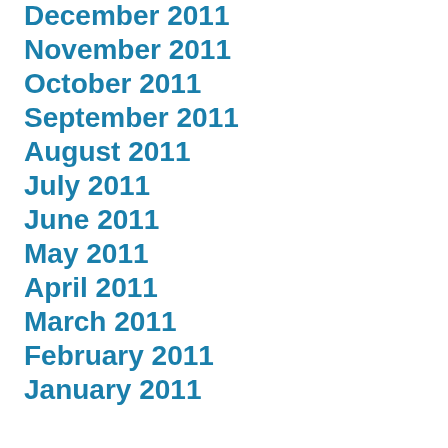December 2011
November 2011
October 2011
September 2011
August 2011
July 2011
June 2011
May 2011
April 2011
March 2011
February 2011
January 2011